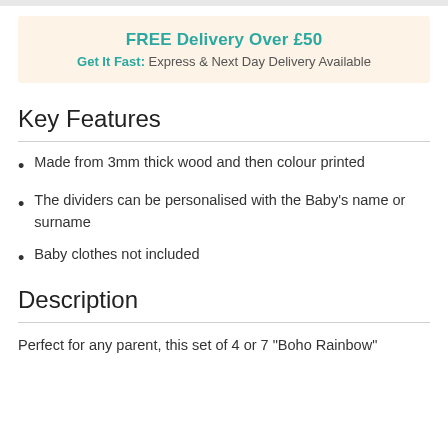FREE Delivery Over £50
Get It Fast: Express & Next Day Delivery Available
Key Features
Made from 3mm thick wood and then colour printed
The dividers can be personalised with the Baby's name or surname
Baby clothes not included
Description
Perfect for any parent, this set of 4 or 7 "Boho Rainbow"